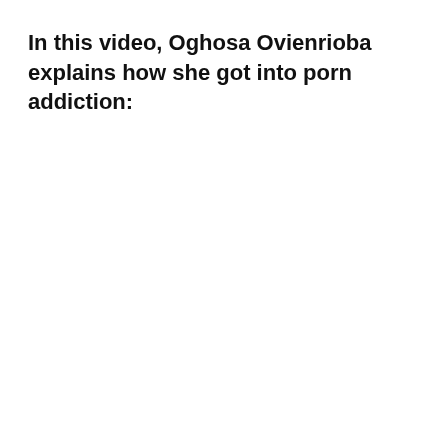In this video, Oghosa Ovienrioba explains how she got into porn addiction: